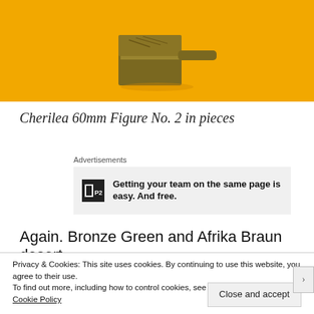[Figure (photo): A bronze/golden metal stamp or seal object photographed against an orange-yellow background. The object appears to be a small flat-topped tool with a handle.]
Cherilea 60mm Figure No. 2 in pieces
Advertisements
[Figure (screenshot): Advertisement banner: P2 logo with text 'Getting your team on the same page is easy. And free.']
Again. Bronze Green and Afrika Braun desert
Privacy & Cookies: This site uses cookies. By continuing to use this website, you agree to their use.
To find out more, including how to control cookies, see here: Cookie Policy